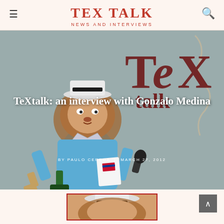TEX TALK
NEWS AND INTERVIEWS
[Figure (illustration): Hero image with cartoon lion character wearing a hat and holding a microphone, dressed as a reporter. Behind the lion is a large stylized 'TeX' logo in dark red and a curly brace symbol. Overlaid on the image is an article title and byline.]
TeXtalk: an interview with Gonzalo Medina
BY PAULO CEREDA  |  MARCH 27, 2012
[Figure (illustration): Partial bottom preview image showing the top of the lion character illustration, cropped, inside a red-bordered box.]